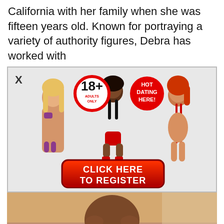California with her family when she was fifteen years old. Known for portraying a variety of authority figures, Debra has worked with
[Figure (advertisement): Adult dating advertisement with '18+ Adults Only' and 'Hot Dating Here!' badges, a 'CLICK HERE TO REGISTER' red button, and silhouetted figures of three women]
[Figure (photo): Close-up photo of a person's upper torso and face, dark skin tone, smiling slightly]